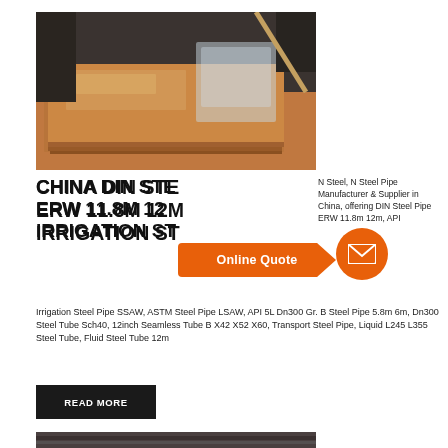[Figure (photo): Copper/bronze colored metal sheets stacked, wrapped in plastic, with industrial equipment in background]
CHINA DIN STEEL PIPE ERW 11.8M 12M IRRIGATION STEEL PIPE
N Steel, N Steel Pipe Manufacturer & Supplier in China, offering DIN Steel Pipe ERW 11.8m 12m, API Irrigation Steel Pipe SSAW, ASTM Steel Pipe LSAW, API 5L Dn300 Gr. B Steel Pipe 5.8m 6m, Dn300 Steel Tube Sch40, 12inch Seamless Tube B X42 X52 X60, Transport Steel Pipe, Liquid L245 L355 Steel Tube, Fluid Steel Tube 12m
READ MORE
[Figure (photo): Bottom partial image of metal pipes or tubes]